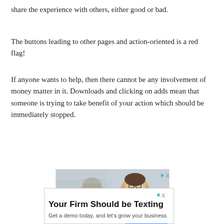share the experience with others, either good or bad.
The buttons leading to other pages and action-oriented is a red flag!
If anyone wants to help, then there cannot be any involvement of money matter in it. Downloads and clicking on adds mean that someone is trying to take benefit of your action which should be immediately stopped.
[Figure (photo): Advertisement photo showing two people — an older woman with short grey hair and a younger man in glasses wearing a white coat — appearing to have a conversation, likely in a pharmacy or medical setting. A small play/ad icon is visible in the top right corner.]
[Figure (infographic): Advertisement banner for 'Text Request' with headline 'Your Firm Should be Texting', subtext 'Get a demo today, and let’s grow your business', brand name 'Text Request', and a blue 'Open' button.]